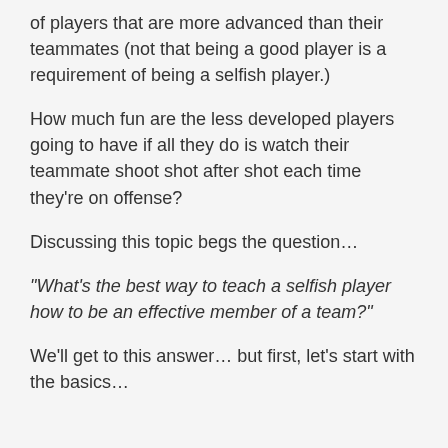of players that are more advanced than their teammates (not that being a good player is a requirement of being a selfish player.)
How much fun are the less developed players going to have if all they do is watch their teammate shoot shot after shot each time they’re on offense?
Discussing this topic begs the question…
“What’s the best way to teach a selfish player how to be an effective member of a team?”
We’ll get to this answer… but first, let’s start with the basics…